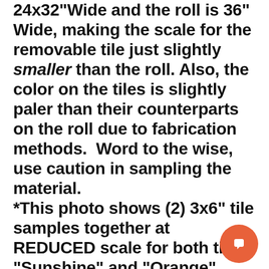24x32"Wide and the roll is 36" Wide, making the scale for the removable tile just slightly smaller than the roll. Also, the color on the tiles is slightly paler than their counterparts on the roll due to fabrication methods.  Word to the wise, use caution in sampling the material.
*This photo shows (2) 3x6" tile samples together at REDUCED scale for both the "Sunshine" and "Orange" ceiling samples (as per H&W sample department).  Notice the center panel Daydream "Cream" is a much larger scale sample from the wallpaper roll.
[Figure (other): Orange circular chat/message bubble icon button in the lower right corner]